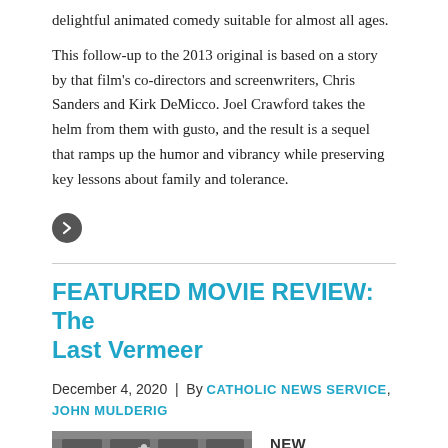delightful animated comedy suitable for almost all ages.
This follow-up to the 2013 original is based on a story by that film's co-directors and screenwriters, Chris Sanders and Kirk DeMicco. Joel Crawford takes the helm from them with gusto, and the result is a sequel that ramps up the humor and vibrancy while preserving key lessons about family and tolerance.
FEATURED MOVIE REVIEW: The Last Vermeer
December 4, 2020  |  By CATHOLIC NEWS SERVICE, JOHN MULDERIG
[Figure (photo): Thumbnail image of a building exterior with windows, associated with The Last Vermeer movie review]
NEW